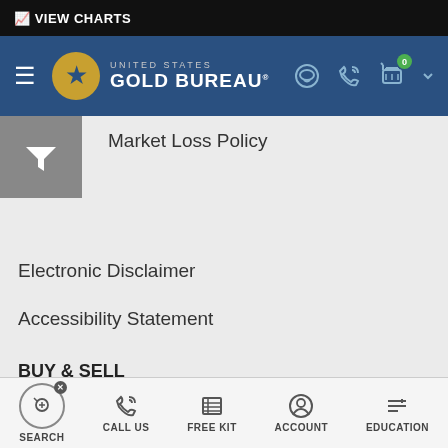VIEW CHARTS
[Figure (logo): United States Gold Bureau logo with navigation icons]
User Agreement
Market Loss Policy
Electronic Disclaimer
Accessibility Statement
BUY & SELL
My Account
Order Status
Shipping/FAQ
Sell To Us
SEARCH   CALL US   FREE KIT   ACCOUNT   EDUCATION